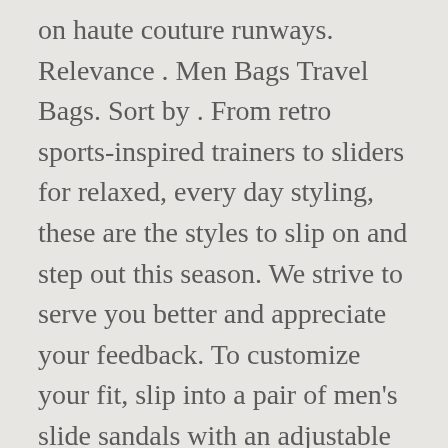on haute couture runways. Relevance . Men Bags Travel Bags. Sort by . From retro sports-inspired trainers to sliders for relaxed, every day styling, these are the styles to slip on and step out this season. We strive to serve you better and appreciate your feedback. To customize your fit, slip into a pair of men's slide sandals with an adjustable strap ; Many men's slides and sandals feature an antimicrobial treatment, which helps prevent the growth of odor-causing bacteria ; Men's sandals are a wardrobe staple. Update, 208 products. Shop online for Men's Sandals, Slides & Flip-Flops at Nordstrom.com. Men Shoes Slides & Sandals; Slides & Sandals Sort. DC